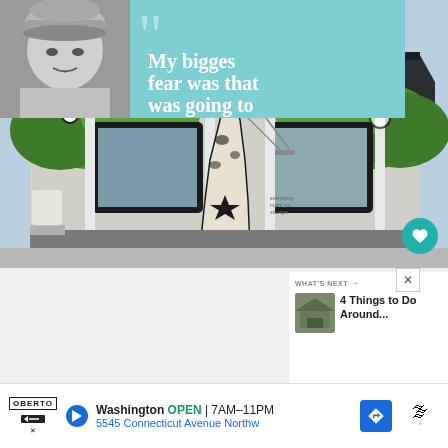[Figure (photo): Exterior of a building painted with a colorful mural featuring green tree branches with leaves, a white giraffe/animal figure, black and white patterns, and a swing, with a dark metal roof and two windows]
[Figure (photo): Black and white photo of a person wearing a knit beanie hat, shown from mid-forehead to chin]
[Figure (infographic): Teal/light blue advertisement box with large decorative quotation marks and white text reading 'My biggest fear was that I was going to']
WHAT'S NEXT → 4 Things to Do Around...
Washington OPEN | 7AM–11PM
5545 Connecticut Avenue Northw
OBERTO